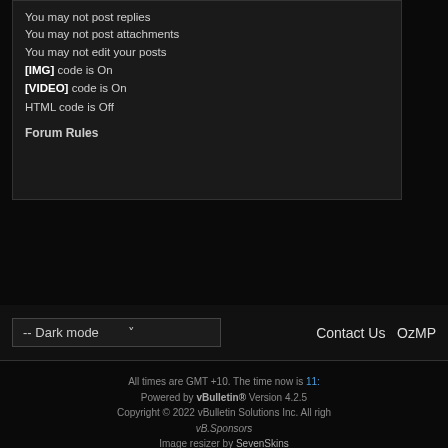You may not post replies
You may not post attachments
You may not edit your posts
[IMG] code is On
[VIDEO] code is On
HTML code is Off
Forum Rules
-- Dark mode
Contact Us  OzMP
All times are GMT +10. The time now is 11:
Powered by vBulletin® Version 4.2.5 Copyright © 2022 vBulletin Solutions Inc. All rights reserved. vB.Sponsors Image resizer by SevenSkins
User Alert System provided by Advanced User Tagging v3.1.3 (Pro) - vBulletin Mods & Addons Copyright © 2022 DragonByte Technologies Ltd.
Feedback Buttons provided by Advanced Post Thanks / Like v3.3.0 (Pro) - vBulletin Mods & Addons Copyright © 2022 DragonByte Technologies Ltd.
Copyright ©2008 - 2018 OzMPSclub vBulletin Skins by Bluepearl Skins